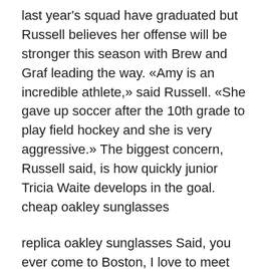last year's squad have graduated but Russell believes her offense will be stronger this season with Brew and Graf leading the way. «Amy is an incredible athlete,» said Russell. «She gave up soccer after the 10th grade to play field hockey and she is very aggressive.» The biggest concern, Russell said, is how quickly junior Tricia Waite develops in the goal. cheap oakley sunglasses
replica oakley sunglasses Said, you ever come to Boston, I love to meet you. Priebatsch replied immediately: he decided to drop out of Princeton and move to Boston. The university would be around a long time, he reasoned, but the moment to start Scvngr was fleeting and couldn wait a few weeks, let